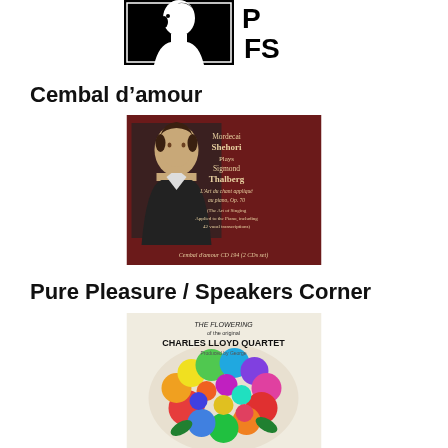[Figure (logo): Logo image: stylized profile silhouette in black and white box with letters 'PFS' to the right]
Cembal d’amour
[Figure (photo): CD cover for Cembal d'amour CD 194 (2 CDs set). Dark red background with a portrait of a young man in 19th century attire on the left. Text on right reads: Mordecai Shehori Plays Sigmond Thalberg L'Art du chant appliqué au piano, Op. 70 (The Art of Singing Applied to the Piano, including 42 vocal transcriptions). Cembal d'amour CD 194 (2 CDs set).]
Pure Pleasure / Speakers Corner
[Figure (photo): Album cover for 'The Flowering of the Original Charles Lloyd Quartet' - colorful psychedelic illustration of a human head profile made of flowers and plants in rainbow colors on a light background.]